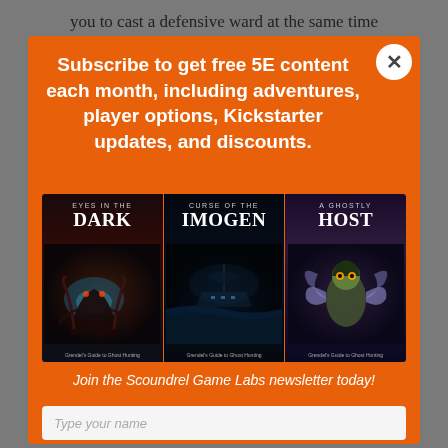you to cast a defensive ward at the same time
Subscribe to get free 5E content each month, including adventures, player options, Kickstarter updates, and discounts.
[Figure (illustration): Three fantasy RPG book covers side by side: 'Eyes in the Dark', 'Curse of the Imogen', and 'A Ghostly Host', each from Grendel's Guide to Ghost Hunting]
Join the Scoundrel Game Labs newsletter today!
Type your name
Type your email